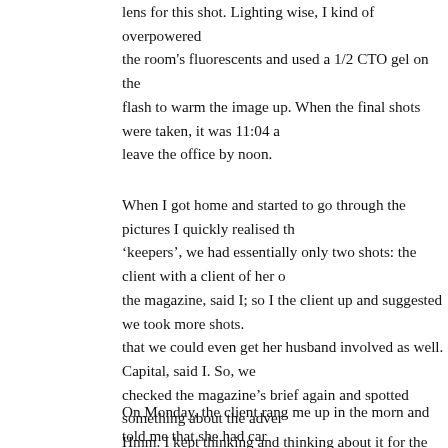lens for this shot. Lighting wise, I kind of overpowered the room's fluorescents and used a 1/2 CTO gel on the flash to warm the image up. When the final shots were taken, it was 11:04 a leave the office by noon.
When I got home and started to go through the pictures I quickly realised th 'keepers', we had essentially only two shots: the client with a client of her o the magazine, said I; so I the client up and suggested we took more shots. that we could even get her husband involved as well. Capital, said I. So, we checked the magazine's brief again and spotted something about the adver Hmm. I kept thinking and thinking about it for the rest of the day and, on Sa bought some granny apples, thinking that the use of the green fruit would c besides, green is analogous to yellow, which is the predominant colour of th brochures and papers. Additionally, I wanted to have a better photo of the c Whilst they were technically correct, I disliked the overall rather sallow tona that had I placed the main light (a 45-inch shoot-through umbrella) on the ri I placed it on the left, I could have hinted at the light 'coming from the "sun" probably nobody would ever notice, but you know me, Liebchen: it has to b
On Monday, the client rang me up in the morn and told me that she had car more time to shoot, and thus, was hoping I could come earlier. A very nice